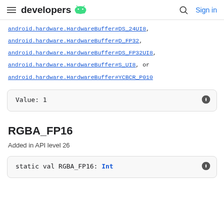developers
android.hardware.HardwareBuffer#DS_24UI8, android.hardware.HardwareBuffer#D_FP32, android.hardware.HardwareBuffer#DS_FP32UI8, android.hardware.HardwareBuffer#S_UI8, or android.hardware.HardwareBuffer#YCBCR_P010
Value: 1
RGBA_FP16
Added in API level 26
static val RGBA_FP16: Int